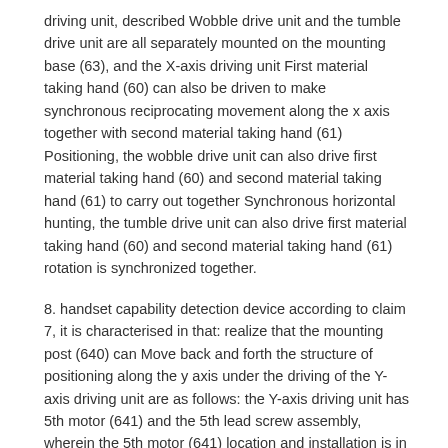driving unit, described Wobble drive unit and the tumble drive unit are all separately mounted on the mounting base (63), and the X-axis driving unit First material taking hand (60) can also be driven to make synchronous reciprocating movement along the x axis together with second material taking hand (61) Positioning, the wobble drive unit can also drive first material taking hand (60) and second material taking hand (61) to carry out together Synchronous horizontal hunting, the tumble drive unit can also drive first material taking hand (60) and second material taking hand (61) rotation is synchronized together.
8. handset capability detection device according to claim 7, it is characterised in that: realize that the mounting post (640) can Move back and forth the structure of positioning along the y axis under the driving of the Y-axis driving unit are as follows: the Y-axis driving unit has 5th motor (641) and the 5th lead screw assembly, wherein the 5th motor (641) location and installation is in the bottom plate frame (621) On, the 5th lead screw assembly has the 5th lead screw for extending along the y axis and being rotatably installed on the bottom plate frame (621) It is slidedly arranged on the 5th nut on the 5th lead screw with one, and